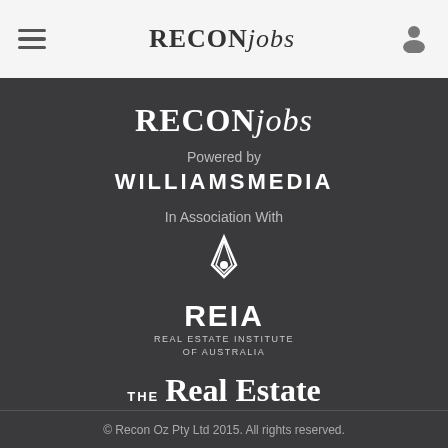RECONjobs
[Figure (logo): RECONjobs logo in white text on dark background]
Powered by
WILLIAMSMEDIA
In Association With
[Figure (logo): REIA - Real Estate Institute of Australia logo with diamond/star icon]
[Figure (logo): THE Real Estate Conversation logo]
© Recon Oz Pty Ltd 2015. All rights reserved.